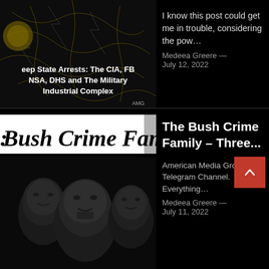[Figure (screenshot): Thumbnail image: Deep State Arrests - The CIA, FBI, NSA, DHS and The Military Industrial Complex, dark background with lightning/circuit imagery]
I know this post could get me in trouble, considering the pow…
Medeea Greere — July 12, 2022
[Figure (screenshot): Thumbnail image: The Bush Crime Family header text and three men in black and white photo]
The Bush Crime Family – Three...
American Media Group Telegram Channel. Everything…
Medeea Greere — July 11, 2022